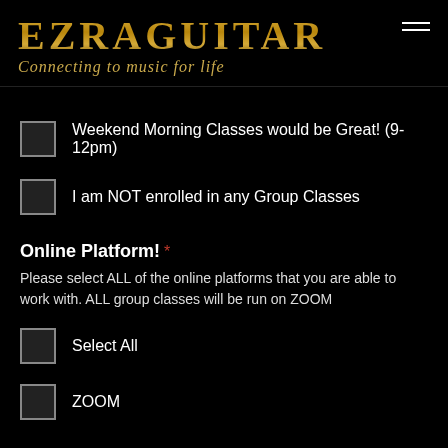EZRAGUITAR — Connecting to music for life
Weekend Morning Classes would be Great! (9-12pm)
I am NOT enrolled in any Group Classes
Online Platform!
Please select ALL of the online platforms that you are able to work with. ALL group classes will be run on ZOOM
Select All
ZOOM